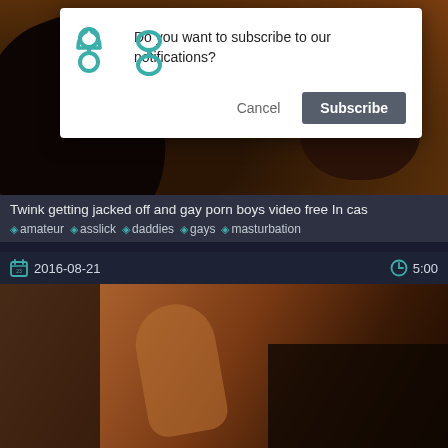[Figure (screenshot): Dark video thumbnail showing close-up scene, with browser notification permission dialog overlaid on top]
Do you want to subscribe to our notifications?
Cancel  Subscribe
Twink getting jacked off and gay porn boys video free In cas
amateur  asslick  daddies  gays  masturbation
2016-08-21
5:00
[Figure (screenshot): Dark video thumbnail showing close-up scene with hand]